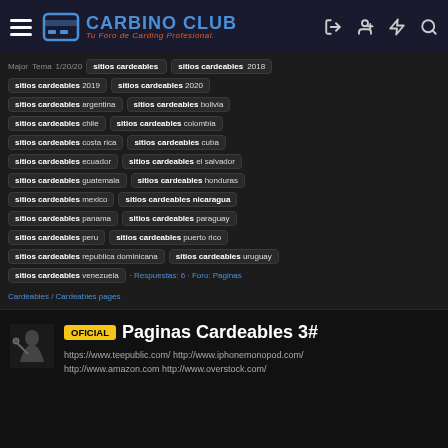CARBINO CLUB - Tu Foro de Carding Profesional
Major Tema 1/20/20 sitios cardeables sitios cardeables 2018 sitios cardeables 2019 sitios cardeables 2020 sitios cardeables argentina sitios cardeables bolivia sitios cardeables chile sitios cardeables colombia sitios cardeables costa rica sitios cardeables cuba sitios cardeables ecuador sitios cardeables el salvador sitios cardeables guatemala sitios cardeables honduras sitios cardeables mexico sitios cardeables nicaragua sitios cardeables panama sitios cardeables paraguay sitios cardeables peru sitios cardeables puerto rico sitios cardeables republica dominicana sitios cardeables uruguay sitios cardeables venezuela · Respuestas: 6 · Foro: Paginas Cardeables / Cardeables pages
OFICIAL Paginas Cardeables 3#
https://www.teepublic.com/ http://www.iphonemonopod.com/ http://www.amazon.com http://www.overstock.com/